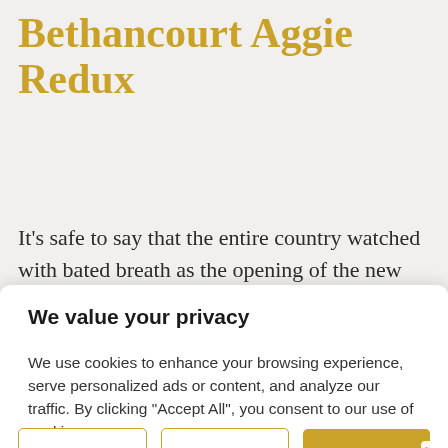Bethancourt Aggie Redux
It’s safe to say that the entire country watched with bated breath as the opening of the new
We value your privacy
We use cookies to enhance your browsing experience, serve personalized ads or content, and analyze our traffic. By clicking "Accept All", you consent to our use of cookies.
Customize | Reject All | Accept All